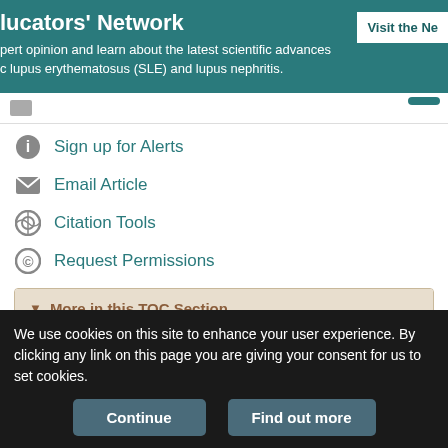lucators' Network — expert opinion and learn about the latest scientific advances c lupus erythematosus (SLE) and lupus nephritis. Visit the Ne
Sign up for Alerts
Email Article
Citation Tools
Request Permissions
More in this TOC Section
Definitions and End Points for Interventional Studies for Arteriovenous Dialysis Access
We use cookies on this site to enhance your user experience. By clicking any link on this page you are giving your consent for us to set cookies.
Continue    Find out more